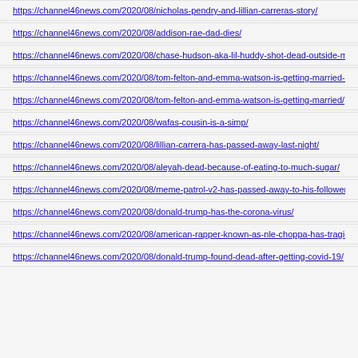https://channel46news.com/2020/08/nicholas-pendry-and-lillian-carreras-story/
https://channel46news.com/2020/08/addison-rae-dad-dies/
https://channel46news.com/2020/08/chase-hudson-aka-lil-huddy-shot-dead-outside-mobil-gas-sta
https://channel46news.com/2020/08/tom-felton-and-emma-watson-is-getting-married-2/
https://channel46news.com/2020/08/tom-felton-and-emma-watson-is-getting-married/
https://channel46news.com/2020/08/wafas-cousin-is-a-simp/
https://channel46news.com/2020/08/lillian-carrera-has-passed-away-last-night/
https://channel46news.com/2020/08/aleyah-dead-because-of-eating-to-much-sugar/
https://channel46news.com/2020/08/meme-patrol-v2-has-passed-away-to-his-followers-being-dry-
https://channel46news.com/2020/08/donald-trump-has-the-corona-virus/
https://channel46news.com/2020/08/american-rapper-known-as-nle-choppa-has-tragically-passed-
https://channel46news.com/2020/08/donald-trump-found-dead-after-getting-covid-19/